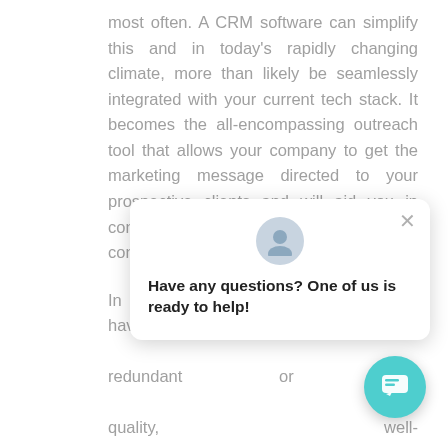most often. A CRM software can simplify this and in today's rapidly changing climate, more than likely be seamlessly integrated with your current tech stack. It becomes the all-encompassing outreach tool that allows your company to get the marketing message directed to your prospective clients and will aid you in converting those clients through consistent follow-up and tracking.
In addition, it is often the case that you have multiple tools in ... redundant or that ... quality, well-execute... reduce the over to... efficiencies and save your company money. CRM services are designed to diagnose and elimin... many bottlenecks through a unified platform... seamless data sharing between all apps, or
[Figure (screenshot): Chat widget popup with avatar icon, close button (×), and text 'Have any questions? One of us is ready to help!' along with a teal circular chat button in the bottom right corner.]